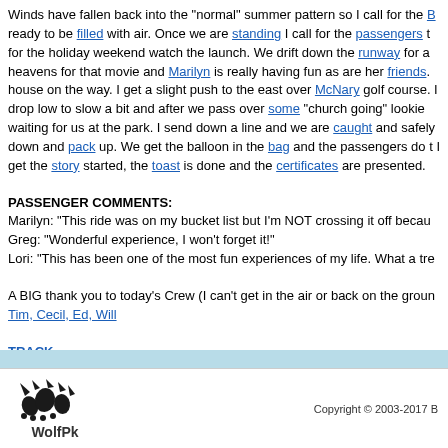Winds have fallen back into the "normal" summer pattern so I call for the B ready to be filled with air. Once we are standing I call for the passengers t for the holiday weekend watch the launch. We drift down the runway for a heavens for that movie and Marilyn is really having fun as are her friends. house on the way. I get a slight push to the east over McNary golf course. I drop low to slow a bit and after we pass over some "church going" lookie waiting for us at the park. I send down a line and we are caught and safely down and pack up. We get the balloon in the bag and the passengers do t I get the story started, the toast is done and the certificates are presented.
PASSENGER COMMENTS:
Marilyn: "This ride was on my bucket list but I'm NOT crossing it off becau
Greg: "Wonderful experience, I won't forget it!"
Lori: "This has been one of the most fun experiences of my life. What a tre
A BIG thank you to today's Crew (I can't get in the air or back on the groun
Tim, Cecil, Ed, Will
TRACK
Average Speed: 6.0 MPH
Distance Flown: 6.1 Miles
Copyright © 2003-2017 B